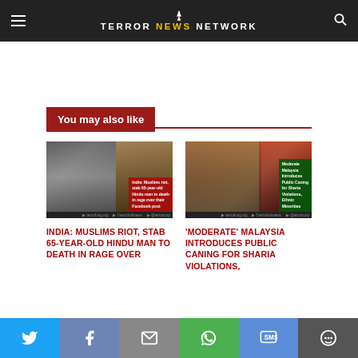Terror News Network
You may also like
[Figure (photo): News article thumbnail showing crowd riots, with red overlay text about Muslims rioting and stabbing a 65-year-old Hindu man]
INDIA: MUSLIMS RIOT, STAB 65-YEAR-OLD HINDU MAN TO DEATH IN RAGE OVER
[Figure (photo): News article thumbnail showing public caning scene, with green overlay text about Moderate Malaysia introducing public caning for Sharia violations]
'MODERATE' MALAYSIA INTRODUCES PUBLIC CANING FOR SHARIA VIOLATIONS,